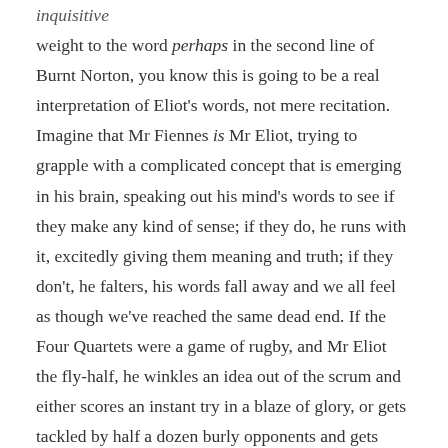inquisitive
weight to the word perhaps in the second line of Burnt Norton, you know this is going to be a real interpretation of Eliot's words, not mere recitation. Imagine that Mr Fiennes is Mr Eliot, trying to grapple with a complicated concept that is emerging in his brain, speaking out his mind's words to see if they make any kind of sense; if they do, he runs with it, excitedly giving them meaning and truth; if they don't, he falters, his words fall away and we all feel as though we've reached the same dead end. If the Four Quartets were a game of rugby, and Mr Eliot the fly-half, he winkles an idea out of the scrum and either scores an instant try in a blaze of glory, or gets tackled by half a dozen burly opponents and gets squished. Either way, Mr Fiennes takes us every step of his journey, and it's irresistible.